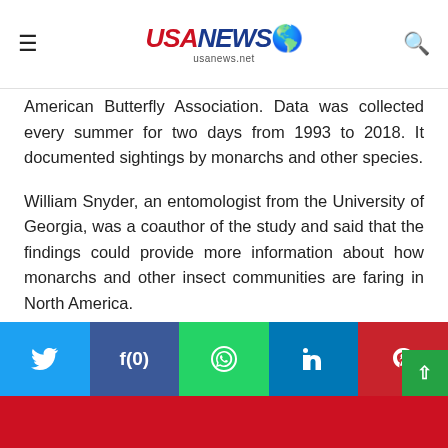usanews.net
American Butterfly Association. Data was collected every summer for two days from 1993 to 2018. It documented sightings by monarchs and other species.
William Snyder, an entomologist from the University of Georgia, was a coauthor of the study and said that the findings could provide more information about how monarchs and other insect communities are faring in North America.
[Figure (other): Social sharing bar with Twitter, Facebook (f(0)), WhatsApp, LinkedIn, and Pinterest buttons, plus a green scroll-to-top button]